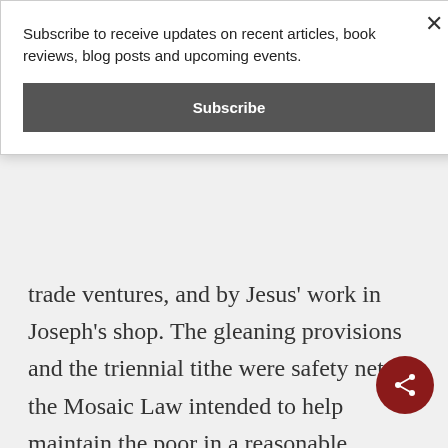Subscribe to receive updates on recent articles, book reviews, blog posts and upcoming events.
Subscribe
trade ventures, and by Jesus' work in Joseph's shop. The gleaning provisions and the triennial tithe were safety nets in the Mosaic Law intended to help maintain the poor in a reasonable lifestyle. They did not relate to methods of organization of agricultural production. The provisi­s for interest on trade does not